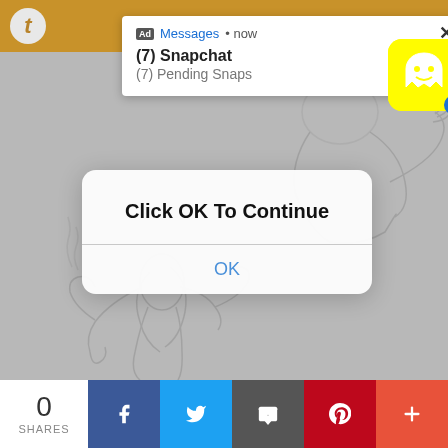[Figure (screenshot): Mobile screenshot showing a Tumblr app interface with a Snapchat ad notification popup at the top, an iOS-style 'Click OK To Continue' dialog in the center, a sketch/line art drawing of animated characters in the background, and a social share bar at the bottom with Facebook, Twitter, email, Pinterest, and more buttons. Share count shows 0 SHARES.]